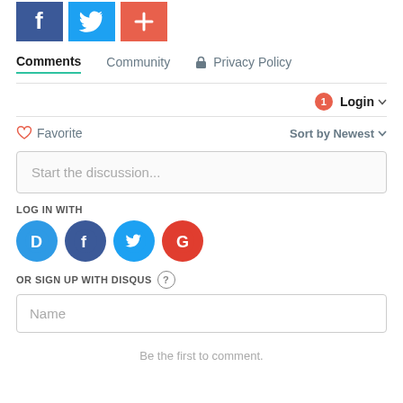[Figure (illustration): Social share buttons: Facebook (blue), Twitter (light blue), Add/Plus (orange-red)]
Comments  Community  🔒 Privacy Policy
Login ▾ (with notification badge showing 1)
♡ Favorite    Sort by Newest ▾
Start the discussion...
LOG IN WITH
[Figure (illustration): Social login icons: Disqus (blue circle D), Facebook (dark blue circle f), Twitter (light blue circle bird), Google (red circle G)]
OR SIGN UP WITH DISQUS ?
Name
Be the first to comment.